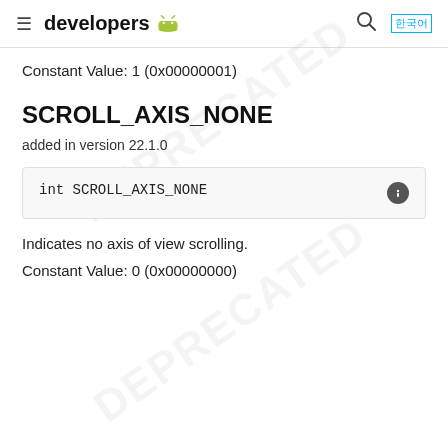developers
Constant Value: 1 (0x00000001)
SCROLL_AXIS_NONE
added in version 22.1.0
int SCROLL_AXIS_NONE
Indicates no axis of view scrolling.
Constant Value: 0 (0x00000000)